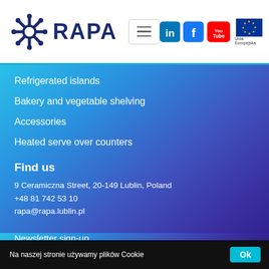[Figure (logo): RAPA company logo in dark blue with snowflake/gear icon]
[Figure (screenshot): Navigation menu hamburger button]
[Figure (logo): LinkedIn, Facebook, YouTube social media icons and EU Unia Europejska flag logo]
Refrigerated islands
Bakery and vegetable shelving
Accessories
Heated serve over counters
Find us
9 Ceramiczna Street, 20-149 Lublin, Poland
+48 81 742 53 10
rapa@rapa.lublin.pl
[Figure (infographic): YouTube, LinkedIn, Google Maps icons and Directions text link]
Newsletter sign-up
Na naszej stronie używamy plików Cookie
Ok